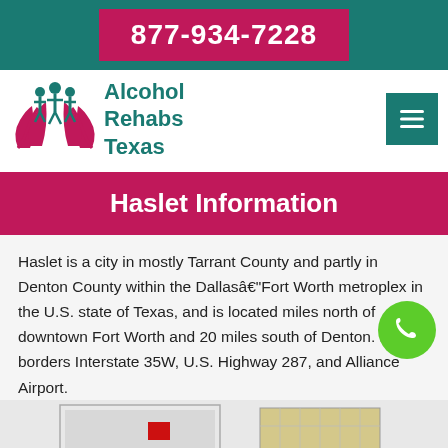877-934-7228
[Figure (logo): Alcohol Rehabs Texas logo with pink hands and teal text]
Haslet Information
Haslet is a city in mostly Tarrant County and partly in Denton County within the Dallas–Fort Worth metroplex in the U.S. state of Texas, and is located miles north of downtown Fort Worth and 20 miles south of Denton. Haslet borders Interstate 35W, U.S. Highway 287, and Alliance Airport.
[Figure (map): Partial map image visible at bottom of page]